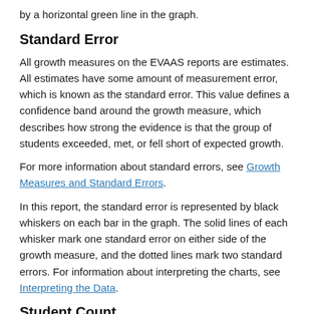by a horizontal green line in the graph.
Standard Error
All growth measures on the EVAAS reports are estimates. All estimates have some amount of measurement error, which is known as the standard error. This value defines a confidence band around the growth measure, which describes how strong the evidence is that the group of students exceeded, met, or fell short of expected growth.
For more information about standard errors, see Growth Measures and Standard Errors.
In this report, the standard error is represented by black whiskers on each bar in the graph. The solid lines of each whisker mark one standard error on either side of the growth measure, and the dotted lines mark two standard errors. For information about interpreting the charts, see Interpreting the Data.
Student Count